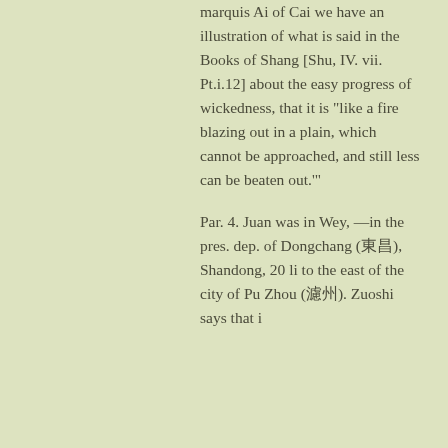marquis Ai of Cai we have an illustration of what is said in the Books of Shang [Shu, IV. vii. Pt.i.12] about the easy progress of wickedness, that it is "like a fire blazing out in a plain, which cannot be approached, and still less can be beaten out."'
Par. 4. Juan was in Wey,—in the pres. dep. of Dongchang (東昌), Shandong, 20 li to the east of the city of Pu Zhou (濮州). Zuoshi says that i...